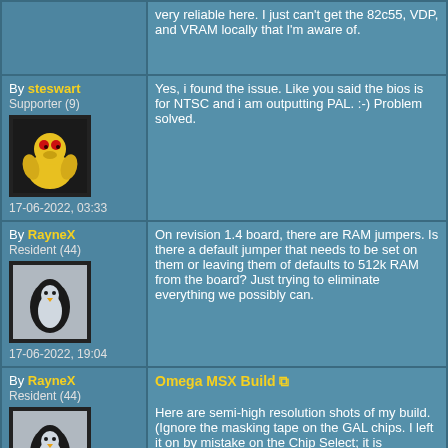very reliable here. I just can't get the 82c55, VDP, and VRAM locally that I'm aware of.
By steswart
Supporter (9)
17-06-2022, 03:33
Yes, i found the issue. Like you said the bios is for NTSC and i am outputting PAL. :-) Problem solved.
By RayneX
Resident (44)
17-06-2022, 19:04
On revision 1.4 board, there are RAM jumpers. Is there a default jumper that needs to be set on them or leaving them of defaults to 512k RAM from the board? Just trying to eliminate everything we possibly can.
By RayneX
Resident (44)
18-06-2022, 02:41
Omega MSX Build

Here are semi-high resolution shots of my build. (Ignore the masking tape on the GAL chips. I left it on by mistake on the Chip Select; it is programmed correctly for Chip Select). My friend who finally was able to start the Smoke tests also has the exact same error at Smoke Test 4.